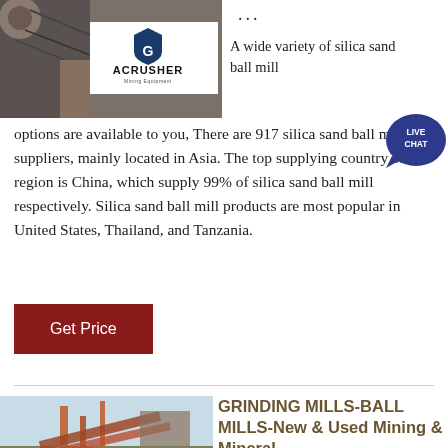[Figure (logo): ACRUSHER Mining Equipment logo on grey machinery background]
... A wide variety of silica sand ball mill options are available to you, There are 917 silica sand ball mill suppliers, mainly located in Asia. The top supplying country or region is China, which supply 99% of silica sand ball mill respectively. Silica sand ball mill products are most popular in United States, Thailand, and Tanzania.
[Figure (illustration): Live Chat button bubble]
Get Price
[Figure (photo): Industrial grinding mill / conveyor equipment at a mining site]
GRINDING MILLS-BALL MILLS-New & Used Mining & Mineral ...